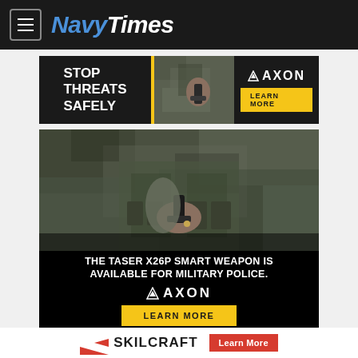NavyTimes
[Figure (infographic): Axon banner advertisement: STOP THREATS SAFELY with soldier photo and AXON logo with LEARN MORE button]
[Figure (photo): Large Axon advertisement showing soldier in camouflage holding TASER X26P smart weapon. Text: THE TASER X26P SMART WEAPON IS AVAILABLE FOR MILITARY POLICE. AXON logo and LEARN MORE button.]
[Figure (logo): SKILCRAFT logo with red Learn More button]